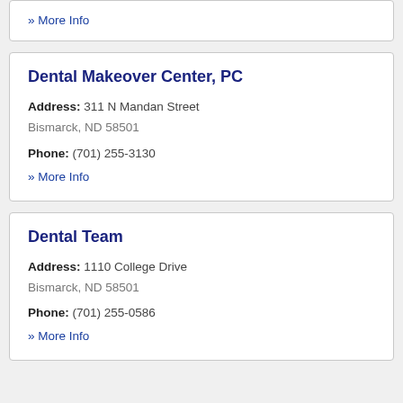» More Info
Dental Makeover Center, PC
Address: 311 N Mandan Street
Bismarck, ND 58501
Phone: (701) 255-3130
» More Info
Dental Team
Address: 1110 College Drive
Bismarck, ND 58501
Phone: (701) 255-0586
» More Info